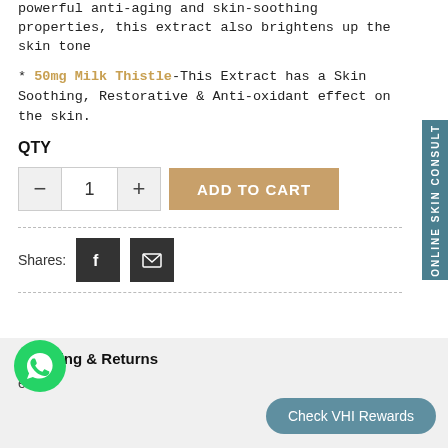powerful anti-aging and skin-soothing properties, this extract also brightens up the skin tone
* 50mg Milk Thistle-This Extract has a Skin Soothing, Restorative & Anti-oxidant effect on the skin.
QTY
[Figure (other): Quantity selector with minus button, number 1, plus button, and Add to Cart button]
Shares:
[Figure (other): Facebook share button and email share button]
Shipping & Returns
ews
[Figure (other): Check VHI Rewards button]
[Figure (other): WhatsApp chat button]
ONLINE SKIN CONSULT